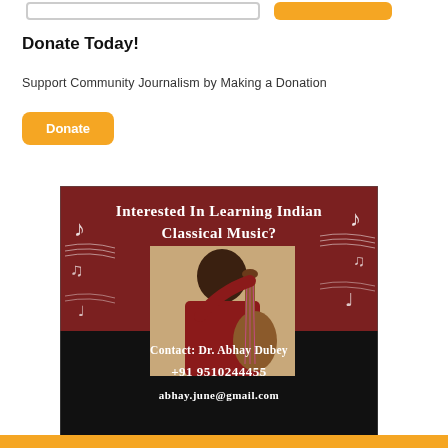Donate Today!
Support Community Journalism by Making a Donation
[Figure (infographic): Advertisement for Indian Classical Music lessons. Dark brown and black background with white music notes. Text reads: 'Interested In Learning Indian Classical Music?' with a photo of a man in red playing a stringed instrument (tanpura). Contact info: Dr. Abhay Dubey, +91 9510244455, abhay.june@gmail.com]